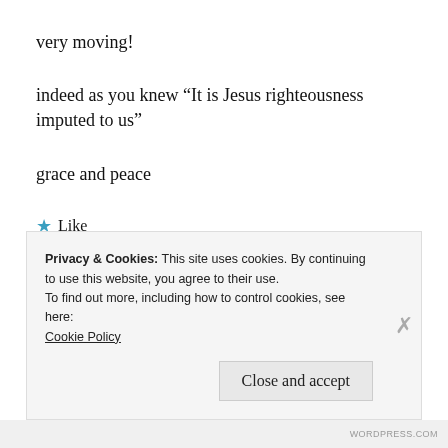very moving!
indeed as you knew “It is Jesus righteousness imputed to us”
grace and peace
★ Like
Privacy & Cookies: This site uses cookies. By continuing to use this website, you agree to their use.
To find out more, including how to control cookies, see here: Cookie Policy
Close and accept
WORDPRESS.COM